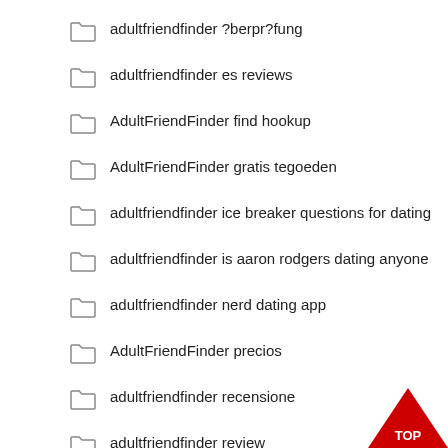adultfriendfinder ?berpr?fung
adultfriendfinder es reviews
AdultFriendFinder find hookup
AdultFriendFinder gratis tegoeden
adultfriendfinder ice breaker questions for dating
adultfriendfinder is aaron rodgers dating anyone
adultfriendfinder nerd dating app
AdultFriendFinder precios
adultfriendfinder recensione
adultfriendfinder review